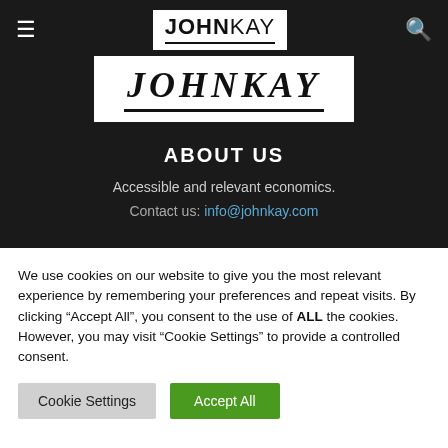JOHNKAY
[Figure (logo): JOHNKAY logo in large italic serif text with underline, white box on dark background]
ABOUT US
Accessible and relevant economics.
Contact us: info@johnkay.com
We use cookies on our website to give you the most relevant experience by remembering your preferences and repeat visits. By clicking "Accept All", you consent to the use of ALL the cookies. However, you may visit "Cookie Settings" to provide a controlled consent.